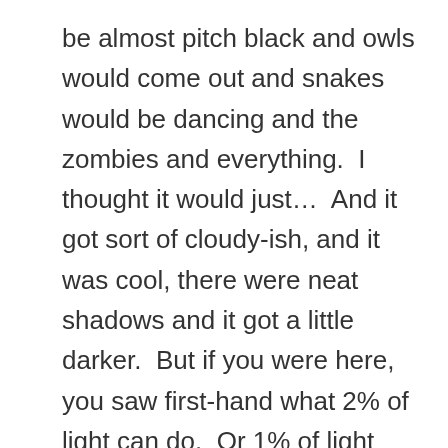be almost pitch black and owls would come out and snakes would be dancing and the zombies and everything.  I thought it would just…  And it got sort of cloudy-ish, and it was cool, there were neat shadows and it got a little darker.  But if you were here, you saw first-hand what 2% of light can do.  Or 1% of light can do.  It's not like you needed your lights to drive around town or you couldn't read a book.  It was 1% was more than enough.  Light shines in the darkness, and the darkness has not overcome it.